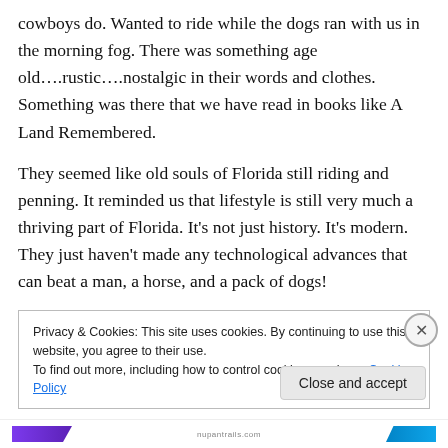cowboys do. Wanted to ride while the dogs ran with us in the morning fog. There was something age old….rustic….nostalgic in their words and clothes. Something was there that we have read in books like A Land Remembered.
They seemed like old souls of Florida still riding and penning. It reminded us that lifestyle is still very much a thriving part of Florida. It's not just history. It's modern. They just haven't made any technological advances that can beat a man, a horse, and a pack of dogs!
Privacy & Cookies: This site uses cookies. By continuing to use this website, you agree to their use.
To find out more, including how to control cookies, see here: Cookie Policy
Close and accept